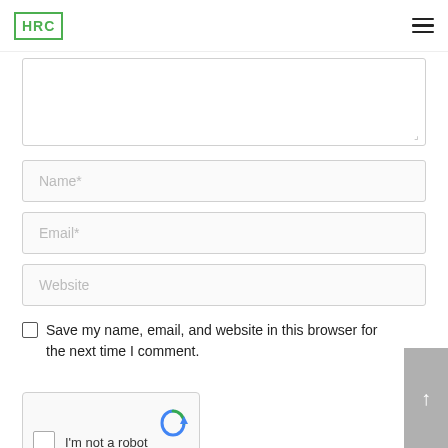HRC
[Figure (screenshot): Comment form with textarea, Name, Email, Website input fields, a save-my-name checkbox, and a reCAPTCHA widget]
Save my name, email, and website in this browser for the next time I comment.
I'm not a robot